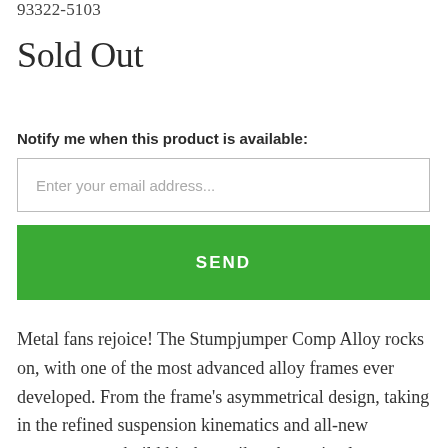93322-5103
Sold Out
Notify me when this product is available:
Enter your email address...
SEND
Metal fans rejoice! The Stumpjumper Comp Alloy rocks on, with one of the most advanced alloy frames ever developed. From the frame’s asymmetrical design, taking in the refined suspension kinematics and all-new geometry, to a build kit that strikes the optimal combination of performance and value,